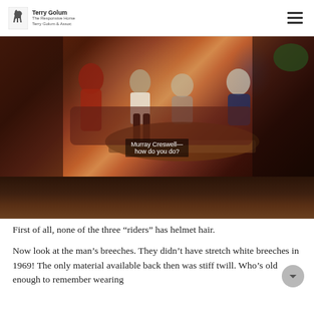Terry Golum - The Responsive Horse / Tony Golum + Assoc
[Figure (photo): A TV screen photograph showing a period drama scene set in an elegant room. Several people including someone in white riding breeches and equestrian attire are seated around a table. Subtitle text reads 'Murray Creswell— how do you do?' The lower portion shows the dark TV bezel and wall below the screen.]
First of all, none of the three “riders” has helmet hair.
Now look at the man’s breeches. They didn’t have stretch white breeches in 1969! The only material available back then was stiff twill. Who’s old enough to remember wearing